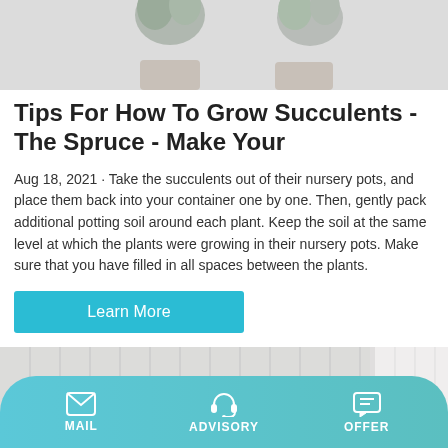[Figure (photo): Top cropped image showing succulents in nursery pots, partially visible at the top of the page]
Tips For How To Grow Succulents - The Spruce - Make Your
Aug 18, 2021 · Take the succulents out of their nursery pots, and place them back into your container one by one. Then, gently pack additional potting soil around each plant. Keep the soil at the same level at which the plants were growing in their nursery pots. Make sure that you have filled in all spaces between the plants.
[Figure (screenshot): Learn More button in teal/cyan color]
[Figure (photo): Bottom image showing a robot or device with green and black elements against a light striped background]
MAIL  ADVISORY  OFFER